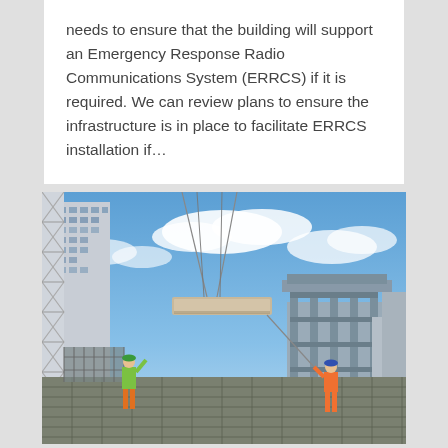needs to ensure that the building will support an Emergency Response Radio Communications System (ERRCS) if it is required. We can review plans to ensure the infrastructure is in place to facilitate ERRCS installation if...
[Figure (photo): Construction site photograph showing two workers in orange high-visibility vests and hard hats on a rooftop, with a large concrete panel being lifted by crane cables against a blue sky with clouds. A tall residential building is visible on the left, and a partially constructed concrete structure is on the right.]